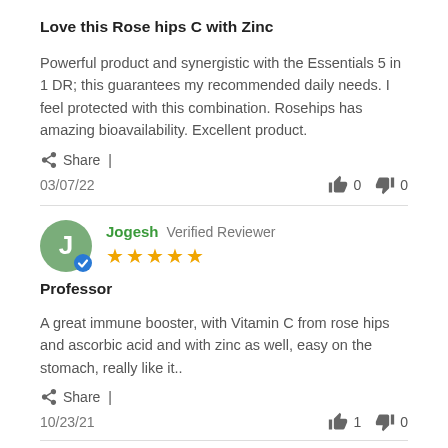Love this Rose hips C with Zinc
Powerful product and synergistic with the Essentials 5 in 1 DR; this guarantees my recommended daily needs. I feel protected with this combination. Rosehips has amazing bioavailability. Excellent product.
Share |
03/07/22   👍 0   👎 0
Jogesh  Verified Reviewer  ★★★★★
Professor
A great immune booster, with Vitamin C from rose hips and ascorbic acid and with zinc as well, easy on the stomach, really like it..
Share |
10/23/21   👍 1   👎 0